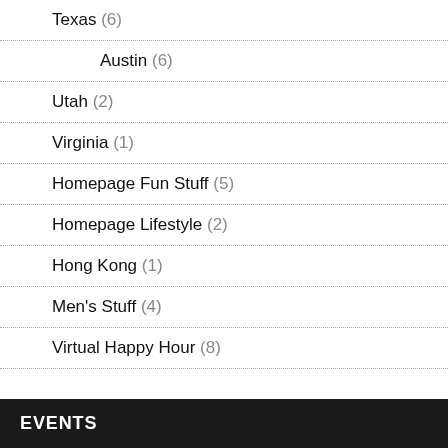Texas (6)
Austin (6)
Utah (2)
Virginia (1)
Homepage Fun Stuff (5)
Homepage Lifestyle (2)
Hong Kong (1)
Men's Stuff (4)
Virtual Happy Hour (8)
EVENTS
Events (506)
BVI Interline Regatta (5)